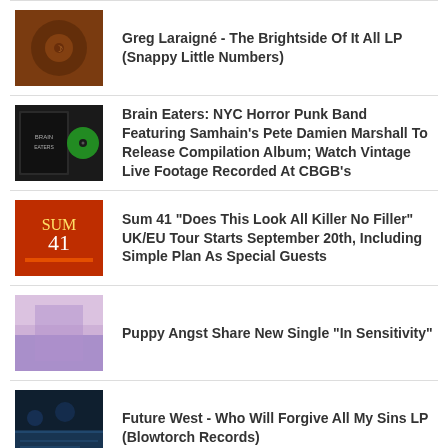Greg Laraigné - The Brightside Of It All LP (Snappy Little Numbers)
Brain Eaters: NYC Horror Punk Band Featuring Samhain's Pete Damien Marshall To Release Compilation Album; Watch Vintage Live Footage Recorded At CBGB's
Sum 41 "Does This Look All Killer No Filler" UK/EU Tour Starts September 20th, Including Simple Plan As Special Guests
Puppy Angst Share New Single "In Sensitivity"
Future West - Who Will Forgive All My Sins LP (Blowtorch Records)
NEØV - Captured Images